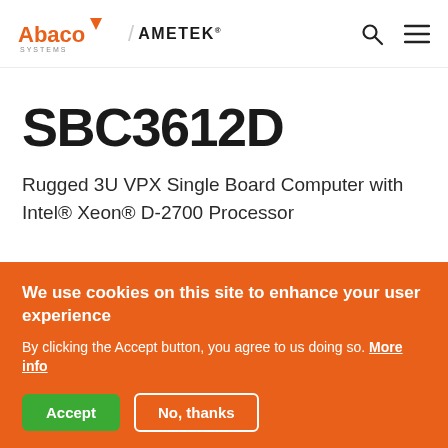Abaco Systems / AMETEK
SBC3612D
Rugged 3U VPX Single Board Computer with Intel® Xeon® D-2700 Processor
We use cookies on this site to enhance your user experience
By clicking the Accept button, you agree to us doing so. More info
Accept   No, thanks